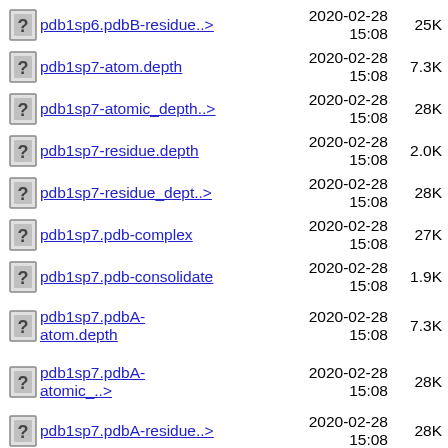pdb1sp6.pdbB-residue..>  2020-02-28 15:08  25K
pdb1sp7-atom.depth  2020-02-28 15:08  7.3K
pdb1sp7-atomic_depth..>  2020-02-28 15:08  28K
pdb1sp7-residue.depth  2020-02-28 15:08  2.0K
pdb1sp7-residue_dept..>  2020-02-28 15:08  28K
pdb1sp7.pdb-complex  2020-02-28 15:08  27K
pdb1sp7.pdb-consolidate  2020-02-28 15:08  1.9K
pdb1sp7.pdbA-atom.depth  2020-02-28 15:08  7.3K
pdb1sp7.pdbA-atomic_..>  2020-02-28 15:08  28K
pdb1sp7.pdbA-residue..>  2020-02-28 15:08  28K
pdb1sp8-atom.depth  2020-02-28 15:08  272K